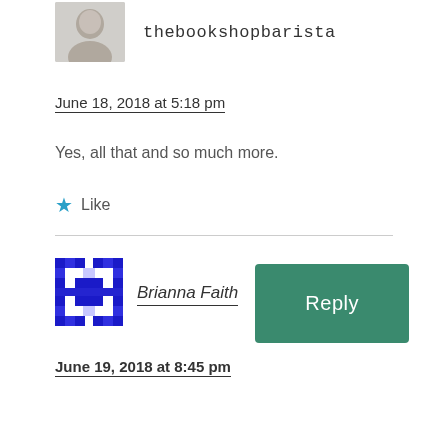[Figure (photo): Small grayscale avatar photo of a person]
thebookshopbarista
June 18, 2018 at 5:18 pm
Yes, all that and so much more.
Like
Reply
[Figure (illustration): Blue pixel/geometric avatar icon for Brianna Faith]
Brianna Faith
June 19, 2018 at 8:45 pm